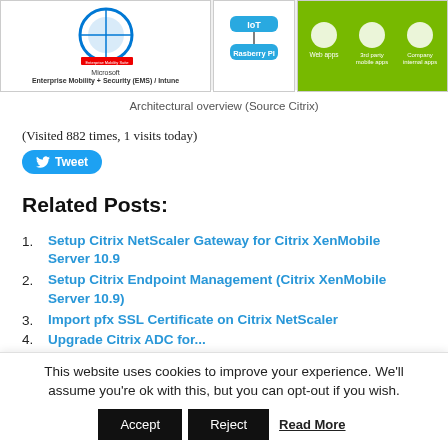[Figure (screenshot): Architectural overview diagram showing Microsoft Enterprise Mobility + Security (EMS) / Intune on the left, IoT and Raspberry PI in the middle, and web apps, 3rd party mobile apps, company internal apps on the right (green background).]
Architectural overview (Source Citrix)
(Visited 882 times, 1 visits today)
[Figure (other): Tweet button (blue rounded button with Twitter bird icon and 'Tweet' text)]
Related Posts:
Setup Citrix NetScaler Gateway for Citrix XenMobile Server 10.9
Setup Citrix Endpoint Management (Citrix XenMobile Server 10.9)
Import pfx SSL Certificate on Citrix NetScaler
Upgrade Citrix ADC for...
This website uses cookies to improve your experience. We'll assume you're ok with this, but you can opt-out if you wish.
Accept   Reject   Read More